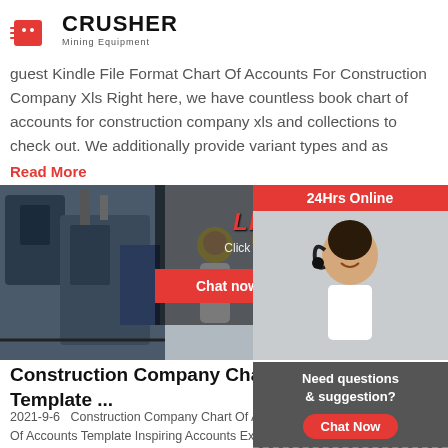[Figure (logo): Crusher Mining Equipment logo with red shopping bag icon and bold black text]
guest Kindle File Format Chart Of Accounts For Construction Company Xls Right here, we have countless book chart of accounts for construction company xls and collections to check out. We additionally provide variant types and as
Read More
[Figure (photo): Banner with industrial machines on left, construction workers in yellow helmets in center, and customer support woman with headset on right. Live chat overlay with 'LIVE CHAT Click for a Free Consultation' and Chat now / Chat later buttons. '24Hrs Online' badge top right.]
Construction Company Chart Of Accounts Template ...
2021-9-6  Construction Company Chart Of Accounts Template. Chart Of Accounts Template Inspiring Accounts Excel Template Exceltemplates Of 37 Accounts Accounting Excel Templates. Construction Quickbooks Set Up And Chart Of Accounts Templates Digital